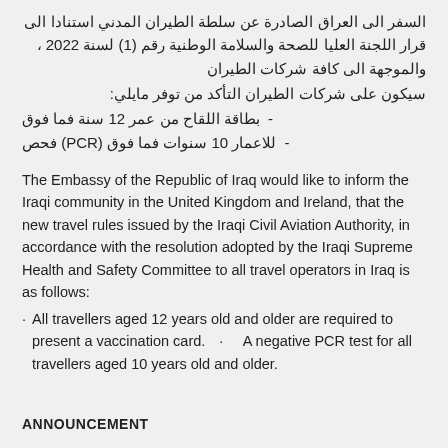السفر الى العراق الصادرة عن سلطة الطيران المدني استنادا الى قرار اللجنة العليا للصحة والسلامة الوطنية رقم (1) لسنة 2022 ، والموجهة الى كافة شركات الطيران
سيكون على شركات الطيران التأكد من توفر مايلي:
بطاقة اللقاح من عمر 12 سنة فما فوق
للاعمار 10 سنوات فما فوق (PCR) فحص
The Embassy of the Republic of Iraq would like to inform the Iraqi community in the United Kingdom and Ireland, that the new travel rules issued by the Iraqi Civil Aviation Authority, in accordance with the resolution adopted by the Iraqi Supreme Health and Safety Committee to all travel operators in Iraq is as follows:
All travellers aged 12 years old and older are required to present a vaccination card.
A negative PCR test for all travellers aged 10 years old and older.
ANNOUNCEMENT